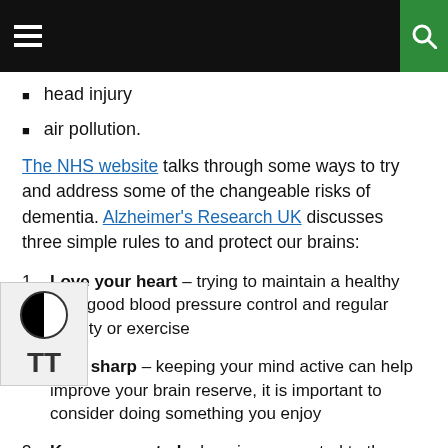[Navigation bar with hamburger menu and search button]
head injury
air pollution.
The NHS website talks through some ways to try and address some of the changeable risks of dementia. Alzheimer's Research UK discusses three simple rules to and protect our brains:
1. Love your heart – trying to maintain a healthy diet, good blood pressure control and regular activity or exercise
2. Stay sharp – keeping your mind active can help improve your brain reserve, it is important to consider doing something you enjoy
3. Keep connected – keeping connected to the people around us is another good way to give back to our